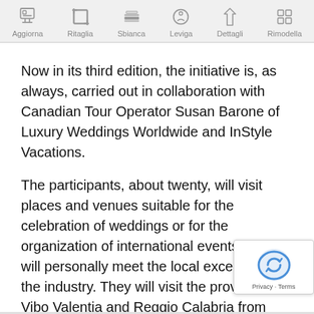[Figure (screenshot): Toolbar with six icons: Aggiorna, Ritaglia, Sbianca, Leviga, Dettagli, Rimodella — gray icons with Italian labels on a light gray background]
Now in its third edition, the initiative is, as always, carried out in collaboration with Canadian Tour Operator Susan Barone of Luxury Weddings Worldwide and InStyle Vacations.
The participants, about twenty, will visit places and venues suitable for the celebration of weddings or for the organization of international events, and will personally meet the local excellences of the industry. They will visit the provinces of Vibo Valentia and Reggio Calabria from various points of view: the venues, the food & wine supply chain, the excellences and their most significant se... for weddings or major events.